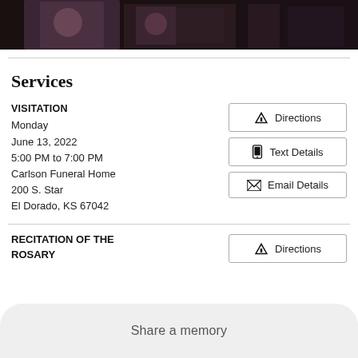[Figure (photo): Partial photo strip at top of page showing people in dark setting]
Services
VISITATION
Monday
June 13, 2022
5:00 PM to 7:00 PM
Carlson Funeral Home
200 S. Star
El Dorado, KS 67042
Directions
Text Details
Email Details
RECITATION OF THE ROSARY
Directions
Share a memory